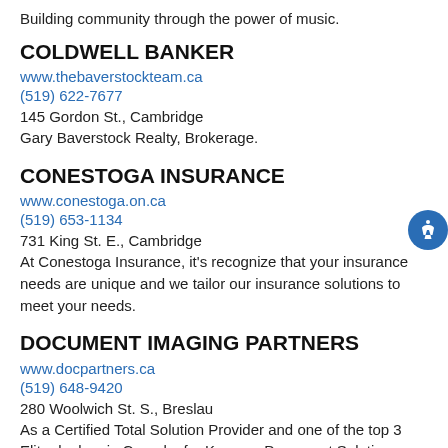Building community through the power of music.
COLDWELL BANKER
www.thebaverstockteam.ca
(519) 622-7677
145 Gordon St., Cambridge
Gary Baverstock Realty, Brokerage.
CONESTOGA INSURANCE
www.conestoga.on.ca
(519) 653-1134
731 King St. E., Cambridge
At Conestoga Insurance, it's recognize that your insurance needs are unique and we tailor our insurance solutions to meet your needs.
DOCUMENT IMAGING PARTNERS
www.docpartners.ca
(519) 648-9420
280 Woolwich St. S., Breslau
As a Certified Total Solution Provider and one of the top 3 Elite dealers in Canada, for Kyocera Document Solutions, Document